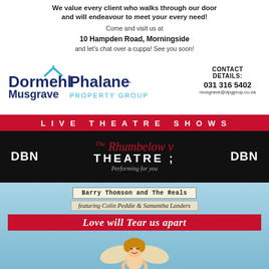We value every client who walks through our door and will endeavour to meet your every need!
Come and visit us at 10 Hampden Road, Morningside and let's chat over a cuppa! See you soon!
[Figure (logo): Dormehl Phalane Musgrave Property Group logo with house icon]
CONTACT DETAILS: 031 316 5402 musgrave@dpgprop.co.za
[Figure (infographic): Live Theatre Shows banner with Rhumbelow Theatre DBN logo]
[Figure (infographic): Event poster for Barry Thomson and The Reals featuring Colin Peddie & Samantha Landers - Love will Tear us apart, with angel illustration]